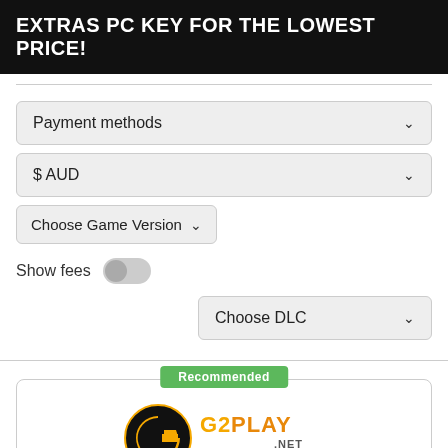EXTRAS PC KEY FOR THE LOWEST PRICE!
Payment methods
$ AUD
Choose Game Version
Show fees
Choose DLC
Recommended
[Figure (logo): G2PLAY.NET logo — circular orange and black G icon with 'G2PLAY' in orange gradient text and '.NET' below]
Client
Version